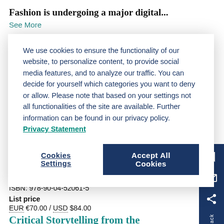Fashion is undergoing a major digital...
See More
We use cookies to ensure the functionality of our website, to personalize content, to provide social media features, and to analyze our traffic. You can decide for yourself which categories you want to deny or allow. Please note that based on your settings not all functionalities of the site are available. Further information can be found in our privacy policy. Privacy Statement
Cookies Settings
Accept All Cookies
Availability: Not yet Published
Publication date: 01 Sep 2022
Copyright Date: 01 Jan 2022
ISBN: 978-90-04-52061-5
List price EUR €70.00 / USD $84.00
Critical Storytelling from the